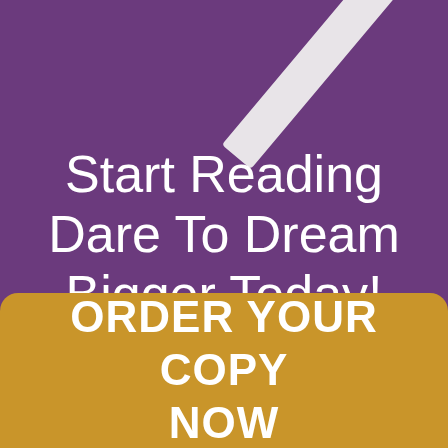[Figure (illustration): Diagonal white bar/pencil shape in upper right corner on purple background]
Start Reading Dare To Dream Bigger Today!
ORDER YOUR COPY NOW